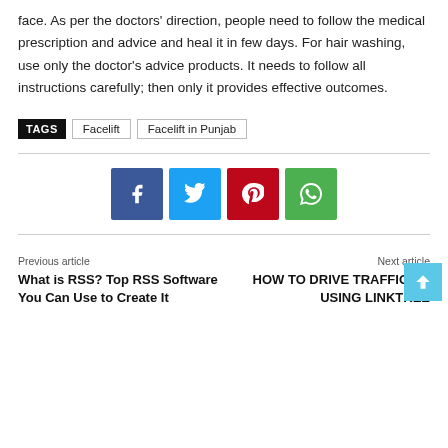face. As per the doctors' direction, people need to follow the medical prescription and advice and heal it in few days. For hair washing, use only the doctor's advice products. It needs to follow all instructions carefully; then only it provides effective outcomes.
TAGS  Facelift  Facelift in Punjab
[Figure (infographic): Social share buttons: Facebook (blue), Twitter (light blue), Pinterest (red), WhatsApp (green)]
Previous article
What is RSS? Top RSS Software You Can Use to Create It
Next article
HOW TO DRIVE TRAFFIC BY USING LINKTREE